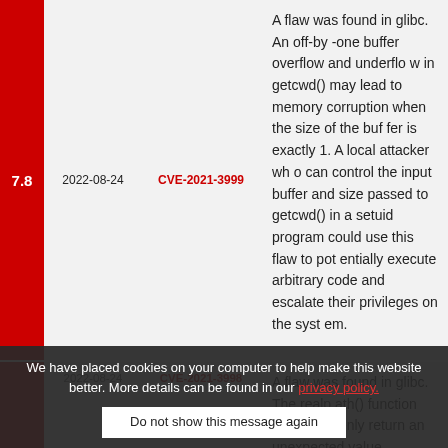| Score | Date | CVE | Description |
| --- | --- | --- | --- |
| 7.8 | 2022-08-24 | CVE-2021-3999 | A flaw was found in glibc. An off-by-one buffer overflow and underflow in getcwd() may lead to memory corruption when the size of the buffer is exactly 1. A local attacker who can control the input buffer and size passed to getcwd() in a setuid program could use this flaw to potentially execute arbitrary code and escalate their privileges on the system. |
| 7.5 | 2022-08-24 | CVE-2021-3998 | A flaw was found in glibc. The realpath() function can mistakenly return an unexpected value, potentially leading to information leakage and disclosure of sensitive data. |
We have placed cookies on your computer to help make this website better. More details can be found in our privacy policy.
Do not show this message again